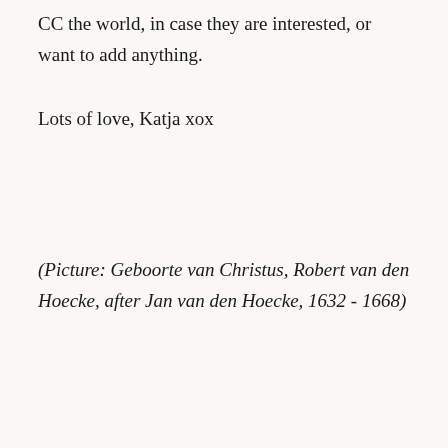CC the world, in case they are interested, or want to add anything.
Lots of love, Katja xox
(Picture: Geboorte van Christus, Robert van den Hoecke, after Jan van den Hoecke, 1632 - 1668)